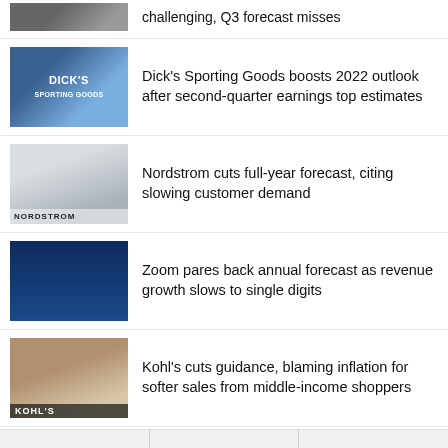[Figure (photo): Partial view of a retail/person news thumbnail at top of page, cropped]
challenging, Q3 forecast misses
[Figure (photo): Dick's Sporting Goods store exterior with signage]
Dick's Sporting Goods boosts 2022 outlook after second-quarter earnings top estimates
[Figure (photo): Nordstrom store interior with shoppers]
Nordstrom cuts full-year forecast, citing slowing customer demand
[Figure (photo): Zoom CEO or executive on stage at conference with blue background]
Zoom pares back annual forecast as revenue growth slows to single digits
[Figure (photo): Kohl's store exterior with signage]
Kohl's cuts guidance, blaming inflation for softer sales from middle-income shoppers